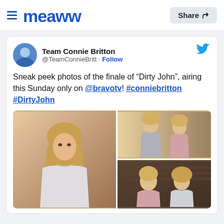Meaww — Share
[Figure (screenshot): Tweet from @TeamConnieBritt featuring sneak peek photos of the finale of 'Dirty John' airing on Bravo TV, with three photos of Connie Britton and another actress in what appears to be a courtroom/legal setting.]
Team Connie Britton @TeamConnieBritt · Follow
Sneak peek photos of the finale of "Dirty John", airing this Sunday only on @bravotv! #conniebritton #DirtyJohn